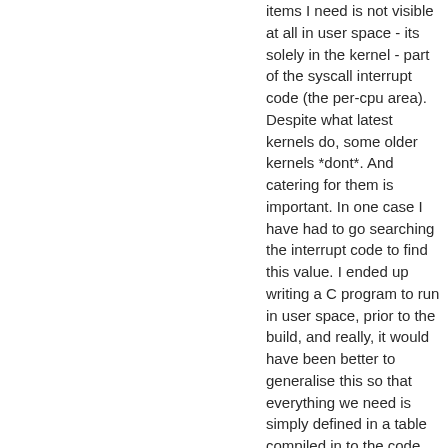items I need is not visible at all in user space - its solely in the kernel - part of the syscall interrupt code (the per-cpu area). Despite what latest kernels do, some older kernels *dont*. And catering for them is important. In one case I have had to go searching the interrupt code to find this value. I ended up writing a C program to run in user space, prior to the build, and really, it would have been better to generalise this so that everything we need is simply defined in a table compiled in to the code, rather than the /dev/fbt code to read from the input stream. This would ensure that a build compiles and works. Today, sometimes I debug issues with old kernels because a required symbol is missing and we end up dereferencing a null pointer (not a nice thing to do in the kernel).
One problem I had with the above, was that gdb on the older distro releases cannot be used to read kernel memory due to a bug in the